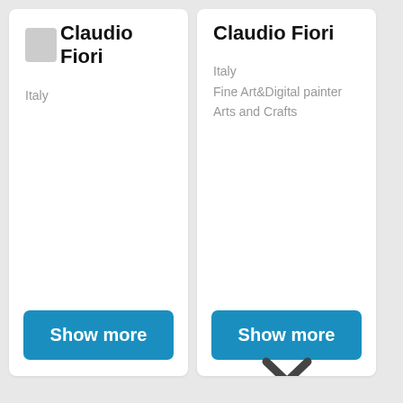Claudio Fiori
Italy
Claudio Fiori
Italy
Fine Art&Digital painter
Arts and Crafts